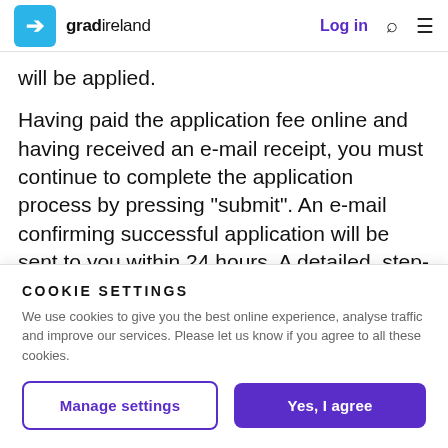gradireland — Log in
will be applied.
Having paid the application fee online and having received an e-mail receipt, you must continue to complete the application process by pressing "submit". An e-mail confirming successful application will be sent to you within 24 hours. A detailed, step-by step guide to the online
COOKIE SETTINGS
We use cookies to give you the best online experience, analyse traffic and improve our services. Please let us know if you agree to all these cookies.
Manage settings
Yes, I agree